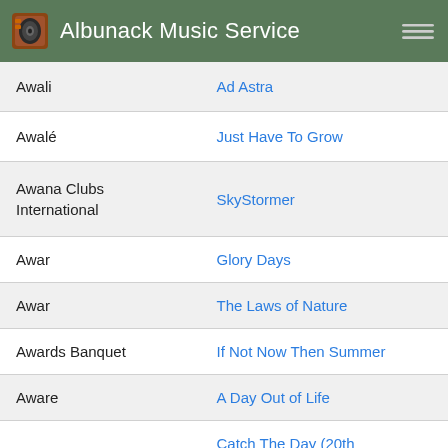Albunack Music Service
| Artist | Album |
| --- | --- |
| Awali | Ad Astra |
| Awalé | Just Have To Grow |
| Awana Clubs International | SkyStormer |
| Awar | Glory Days |
| Awar | The Laws of Nature |
| Awards Banquet | If Not Now Then Summer |
| Aware | A Day Out of Life |
| Aware | Catch The Day (20th Anniversary |